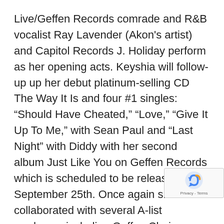Live/Geffen Records comrade and R&B vocalist Ray Lavender (Akon's artist) and Capitol Records J. Holiday perform as her opening acts. Keyshia will follow-up up her debut platinum-selling CD The Way It Is and four #1 singles: “Should Have Cheated,” “Love,” “Give It Up To Me,” with Sean Paul and “Last Night” with Diddy with her second album Just Like You on Geffen Records which is scheduled to be released on September 25th. Once again she’s collaborated with several A-list producers including Geffen Chairman Ron Fair, Rodney Jerkins, Baby Face, Scott Storch and Bryan Michael Cox. In addition to features by Missy Elliot and Lil Kim, Keyshia’s Oakland homeboy Too Short and R&B singer Anthony Hamilton grace the album as well. Keyshia puts the finishing touches on her sophomore
[Figure (other): reCAPTCHA badge with blue arrow icon and Privacy - Terms text]